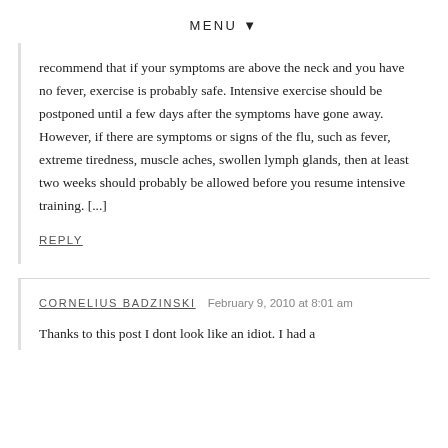MENU ▼
recommend that if your symptoms are above the neck and you have no fever, exercise is probably safe. Intensive exercise should be postponed until a few days after the symptoms have gone away. However, if there are symptoms or signs of the flu, such as fever, extreme tiredness, muscle aches, swollen lymph glands, then at least two weeks should probably be allowed before you resume intensive training. [...]
REPLY
CORNELIUS BADZINSKI   February 9, 2010 at 8:01 am
Thanks to this post I dont look like an idiot. I had a